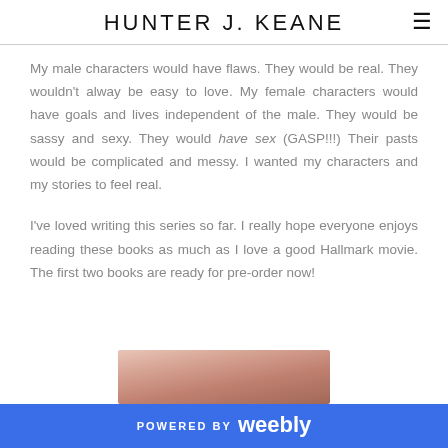HUNTER J. KEANE
My male characters would have flaws. They would be real. They wouldn't alway be easy to love. My female characters would have goals and lives independent of the male. They would be sassy and sexy. They would have sex (GASP!!!) Their pasts would be complicated and messy. I wanted my characters and my stories to feel real.
I've loved writing this series so far. I really hope everyone enjoys reading these books as much as I love a good Hallmark movie. The first two books are ready for pre-order now!
[Figure (photo): Partial photo of a person, bottom portion cut off, warm tones]
POWERED BY weebly